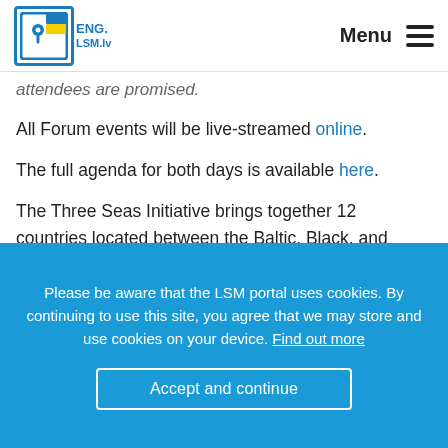ENG.LSM.lv | Menu
attendees are promised.
All Forum events will be live-streamed online.
The full agenda for both days is available here.
The Three Seas Initiative brings together 12 countries located between the Baltic, Black, and Adriatic seas, several of which are actually land-locked: Estonia, Latvia, Lithuania, Poland, the Czech Republic, Slovakia, Hungary, Slovenia, Austria, Croatia, Romania and Bulgaria. The initiative includes an annual summit held at the…
Please be aware that the LSM portal uses cookies. By continuing to use this site, you agree that we may store and use cookies on your device. Find out more
Accept and continue